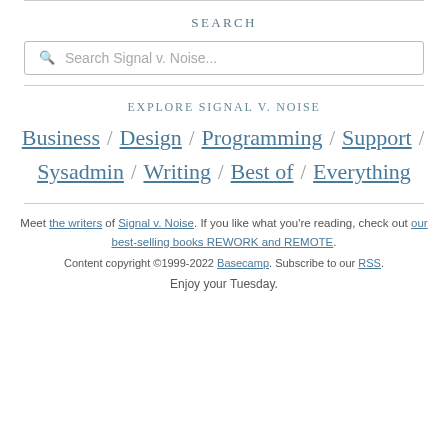SEARCH
Search Signal v. Noise...
EXPLORE SIGNAL V. NOISE
Business / Design / Programming / Support / Sysadmin / Writing / Best of / Everything
Meet the writers of Signal v. Noise. If you like what you're reading, check out our best-selling books REWORK and REMOTE.
Content copyright ©1999-2022 Basecamp. Subscribe to our RSS.
Enjoy your Tuesday.